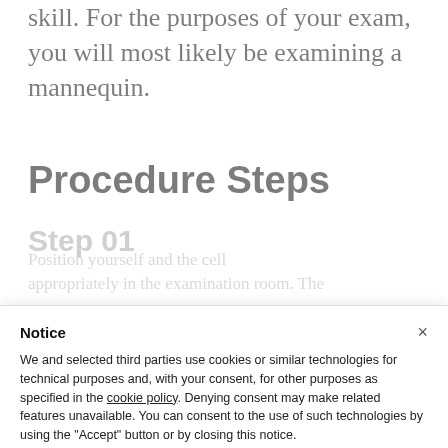skill. For the purposes of your exam, you will most likely be examining a mannequin.
Procedure Steps
Step 01
Notice
We and selected third parties use cookies or similar technologies for technical purposes and, with your consent, for other purposes as specified in the cookie policy. Denying consent may make related features unavailable. You can consent to the use of such technologies by using the "Accept" button or by closing this notice.
Accept
Learn more and customise
Step 02
The patient should be exposed from the waist down, or have their gown pulled up. Testicular examination is best performed